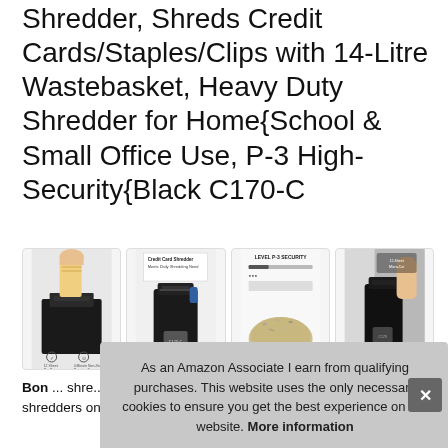Shredder, Shreds Credit Cards/Staples/Clips with 14-Litre Wastebasket, Heavy Duty Shredder for Home·School & Small Office Use, P-3 High-Security·Black C170-C
[Figure (photo): Four product thumbnail images of a black paper shredder showing different views and features: hand feeding paper, full product view with label, P-3 security level diagram with shredded paper, and side view with shredder.]
Bon... shre... part... shredding ability of most common cross cut shredders on the
As an Amazon Associate I earn from qualifying purchases. This website uses the only necessary cookies to ensure you get the best experience on our website. More information